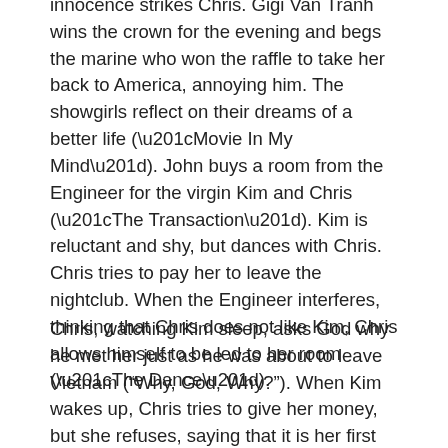innocence strikes Chris. Gigi Van Tranh wins the crown for the evening and begs the marine who won the raffle to take her back to America, annoying him. The showgirls reflect on their dreams of a better life (“Movie In My Mind”). John buys a room from the Engineer for the virgin Kim and Chris (“The Transaction”). Kim is reluctant and shy, but dances with Chris. Chris tries to pay her to leave the nightclub. When the Engineer interferes, thinking that Chris does not like Kim, Chris allows himself to be led to her room (“The Dance”).
Chris, watching Kim sleep, asks God why he met her just as he was about to leave Vietnam (“Why, God, Why?”). When Kim wakes up, Chris tries to give her money, but she refuses, saying that it is her first time sleeping with a man (“This Money’s Yours”). Touched to learn that Kim is an orphan, Chris tells her that she need not sell herself at the club, because he wants her to stay with him. The two pledge their love for each other (“Sun and Moon”). Chris tells John that he is taking leave to spend time